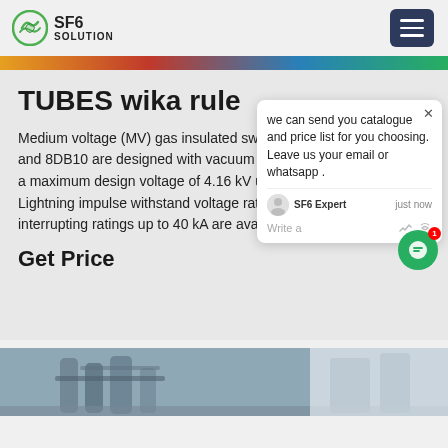SF6 SOLUTION
TUBES wika rule
Medium voltage (MV) gas insulated switchgear (GIS) types 8DA10 and 8DB10 are designed with vacuum circuit breaker designs with a maximum design voltage of 4.16 kV up to 38 kV (on request). Lightning impulse withstand voltage ratings up to 200 kV BIL and interrupting ratings up to 40 kA are available.
Get Price
[Figure (photo): Industrial equipment in a facility, showing cylindrical tanks and machinery]